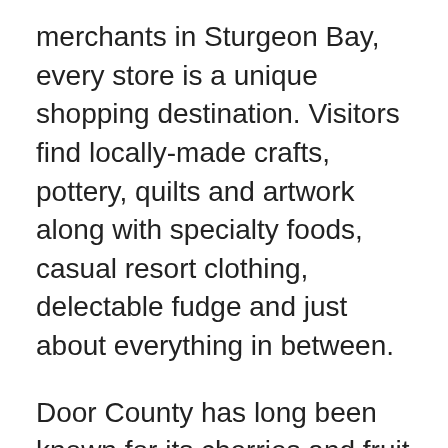merchants in Sturgeon Bay, every store is a unique shopping destination. Visitors find locally-made crafts, pottery, quilts and artwork along with specialty foods, casual resort clothing, delectable fudge and just about everything in between.
Door County has long been known for its cherries and fruit wines. In recent years, new wineries and vineyards have joined the traditional favorites and the county's wine list has expanded to include the fruit of the grape vine. Admire picturesque lighthouses, fascinating galleries, entertaining theater shows and the distinct historic waterfront. Stop by our scenic city, county and state parks to enjoy pristine trails for hiking, biking, skiing or snowmobiling. Ready to catch the big one? Every